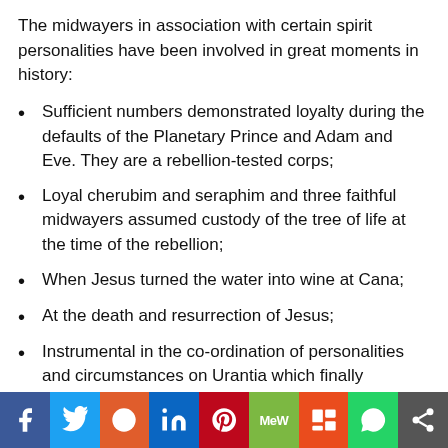The midwayers in association with certain spirit personalities have been involved in great moments in history:
Sufficient numbers demonstrated loyalty during the defaults of the Planetary Prince and Adam and Eve. They are a rebellion-tested corps;
Loyal cherubim and seraphim and three faithful midwayers assumed custody of the tree of life at the time of the rebellion;
When Jesus turned the water into wine at Cana;
At the death and resurrection of Jesus;
Instrumental in the co-ordination of personalities and circumstances on Urantia which finally convinced the planetary supervisors to initiate the Urantia Papers.
[Figure (other): Social media sharing bar with buttons for Facebook, Twitter, Reddit, LinkedIn, Pinterest, MeWe, Mix, WhatsApp, and Share]